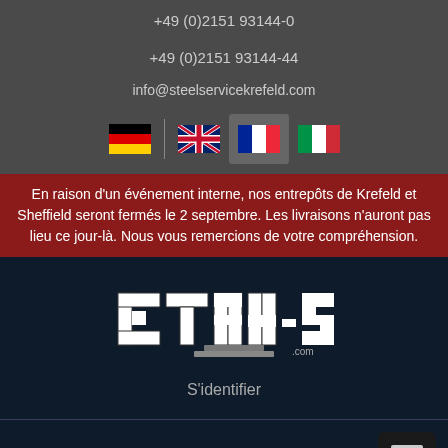+49 (0)2151 93144-0
+49 (0)2151 93144-44
info@steelservicekrefeld.com
[Figure (illustration): Four country flag icons: Germany, UK (selected/active), France, Italy in a row with a vertical divider]
En raison d'un événement interne, nos entrepôts de Krefeld et Sheffield seront fermés le 2 septembre. Les livraisons n'auront pas lieu ce jour-là. Nous vous remercions de votre compréhension.
[Figure (logo): Stahl-Shop.com logo in blocky steel style lettering on dark background]
S'identifier
[Figure (illustration): Hamburger menu button (three horizontal lines) on dark background in lower right]